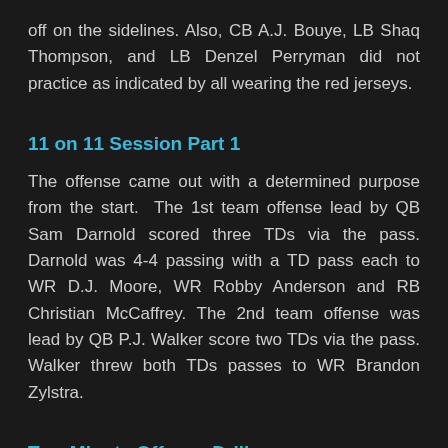off on the sidelines. Also, CB A.J. Bouye, LB Shaq Thompson, and LB Denzel Perryman did not practice as indicated by all wearing the red jerseys.
11 on 11 Session Part 1
The offense came out with a determined purpose from the start. The 1st team offense lead by QB Sam Darnold scored three TDs via the pass. Darnold was 4-4 passing with a TD pass each to WR D.J. Moore, WR Robby Anderson and RB Christian McCaffrey. The 2nd team offense was lead by QB P.J. Walker score two TDs via the pass. Walker threw both TDs passes to WR Brandon Zylstra.
Two Minute Offense Drill
It was during this session that the defense finally starting making plays. CB...